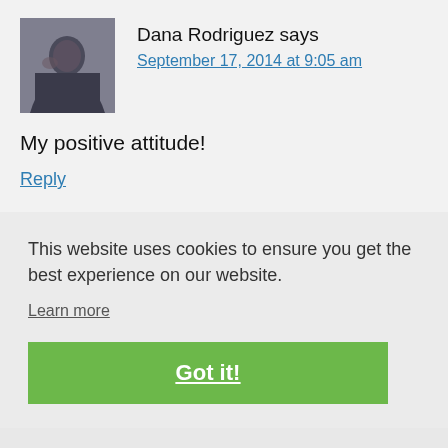Dana Rodriguez says
September 17, 2014 at 9:05 am
My positive attitude!
Reply
This website uses cookies to ensure you get the best experience on our website.
Learn more
Got it!